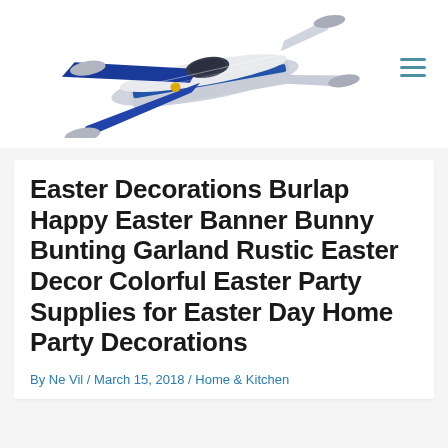[Figure (photo): LEGO Star Wars U-wing starfighter model/toy, white and blue, on white background — used as website logo/header image]
Easter Decorations Burlap Happy Easter Banner Bunny Bunting Garland Rustic Easter Decor Colorful Easter Party Supplies for Easter Day Home Party Decorations
By Ne Vil / March 15, 2018 / Home & Kitchen